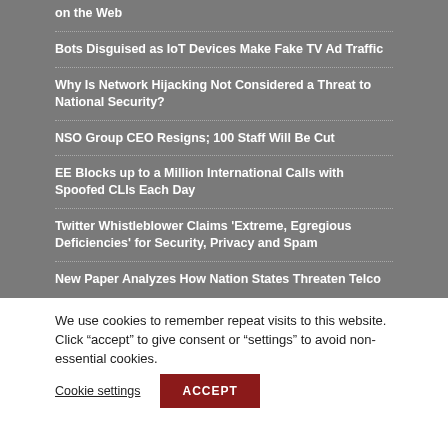on the Web
Bots Disguised as IoT Devices Make Fake TV Ad Traffic
Why Is Network Hijacking Not Considered a Threat to National Security?
NSO Group CEO Resigns; 100 Staff Will Be Cut
EE Blocks up to a Million International Calls with Spoofed CLIs Each Day
Twitter Whistleblower Claims 'Extreme, Egregious Deficiencies' for Security, Privacy and Spam
New Paper Analyzes How Nation States Threaten Telco
We use cookies to remember repeat visits to this website. Click "accept" to give consent or "settings" to avoid non-essential cookies.
Cookie settings
ACCEPT